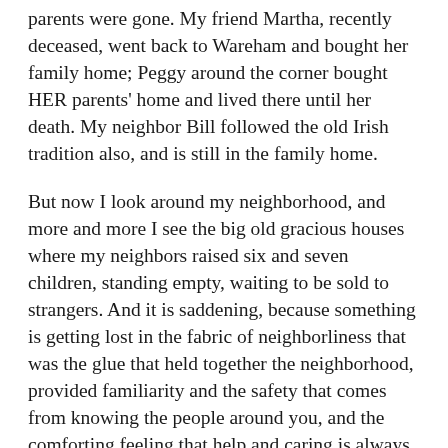parents were gone. My friend Martha, recently deceased, went back to Wareham and bought her family home; Peggy around the corner bought HER parents' home and lived there until her death. My neighbor Bill followed the old Irish tradition also, and is still in the family home.
But now I look around my neighborhood, and more and more I see the big old gracious houses where my neighbors raised six and seven children, standing empty, waiting to be sold to strangers. And it is saddening, because something is getting lost in the fabric of neighborliness that was the glue that held together the neighborhood, provided familiarity and the safety that comes from knowing the people around you, and the comforting feeling that help and caring is always near.
Perhaps it is because we all live longer and our young ones can not have the house for so many years, or perhaps it is that so often the newer generation want to be independent, want to have the newest fixtures, want to be nearer to their work, or